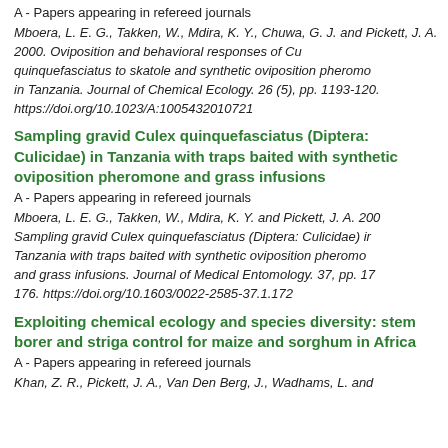A - Papers appearing in refereed journals
Mboera, L. E. G., Takken, W., Mdira, K. Y., Chuwa, G. J. and Pickett, J. A. 2000. Oviposition and behavioral responses of Culex quinquefasciatus to skatole and synthetic oviposition pheromones in Tanzania. Journal of Chemical Ecology. 26 (5), pp. 1193-120. https://doi.org/10.1023/A:1005432010721
Sampling gravid Culex quinquefasciatus (Diptera: Culicidae) in Tanzania with traps baited with synthetic oviposition pheromone and grass infusions
A - Papers appearing in refereed journals
Mboera, L. E. G., Takken, W., Mdira, K. Y. and Pickett, J. A. 2000. Sampling gravid Culex quinquefasciatus (Diptera: Culicidae) in Tanzania with traps baited with synthetic oviposition pheromone and grass infusions. Journal of Medical Entomology. 37, pp. 172-176. https://doi.org/10.1603/0022-2585-37.1.172
Exploiting chemical ecology and species diversity: stem borer and striga control for maize and sorghum in Africa
A - Papers appearing in refereed journals
Khan, Z. R., Pickett, J. A., Van Den Berg, J., Wadhams, L. and ...